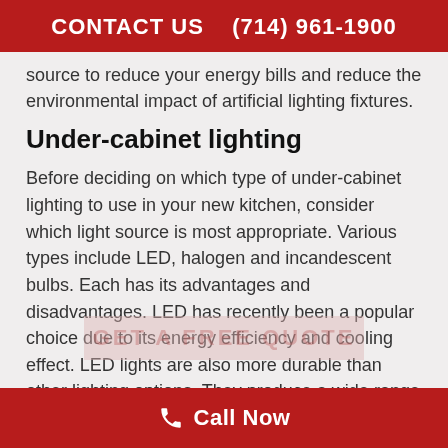CONTACT US   (714) 961-1900
source to reduce your energy bills and reduce the environmental impact of artificial lighting fixtures.
Under-cabinet lighting
Before deciding on which type of under-cabinet lighting to use in your new kitchen, consider which light source is most appropriate. Various types include LED, halogen and incandescent bulbs. Each has its advantages and disadvantages. LED has recently been a popular choice due to its energy efficiency and cooling effect. LED lights are also more durable than other lighting options. They produce a wide range of colors and are also flexible enough to fit into various cabinetry styles.
Call Now